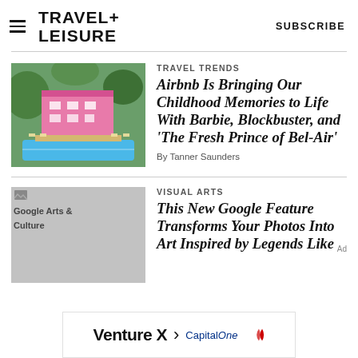TRAVEL+ LEISURE   SUBSCRIBE
[Figure (photo): Aerial view of a pink Barbie-style house with a pool and lush greenery]
TRAVEL TRENDS
Airbnb Is Bringing Our Childhood Memories to Life With Barbie, Blockbuster, and 'The Fresh Prince of Bel-Air'
By Tanner Saunders
[Figure (photo): Google Arts & Culture placeholder image (gray)]
VISUAL ARTS
This New Google Feature Transforms Your Photos Into Art Inspired by Legends Like
[Figure (other): Venture X > Capital One advertisement banner]